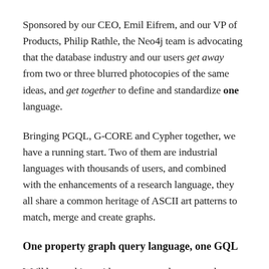Sponsored by our CEO, Emil Eifrem, and our VP of Products, Philip Rathle, the Neo4j team is advocating that the database industry and our users get away from two or three blurred photocopies of the same ideas, and get together to define and standardize one language.
Bringing PGQL, G-CORE and Cypher together, we have a running start. Two of them are industrial languages with thousands of users, and combined with the enhancements of a research language, they all share a common heritage of ASCII art patterns to match, merge and create graphs.
One property graph query language, one GQL
We'll be working with our users and we got to know...